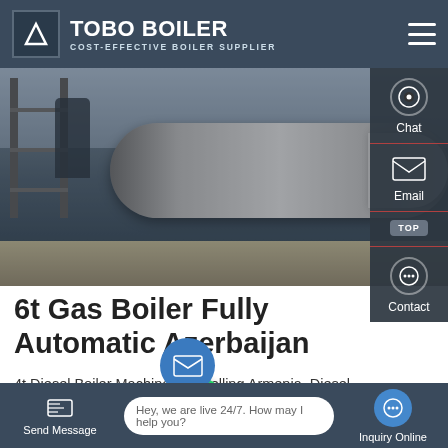TOBO BOILER — COST-EFFECTIVE BOILER SUPPLIER
[Figure (photo): Industrial boiler installation site: a large cylindrical boiler tube being installed outdoors, with a worker on scaffolding and construction equipment visible.]
6t Gas Boiler Fully Automatic Azerbaijan
4t Diesel Boiler Machine Hot Selling Armenia. Diesel Boiler Machine Industrial Agent Kyrgyzstan. 4t Diesel Boiler Machine Industrial Agent Kyrgyzstan industrial or boiler agent diesel fired... HL Series Biomass-fired Steam dzh3 1 25 t and horizontal fire tube ...ca...ne o...
Send Message   Hey, we are live 24/7. How may I help you?   Inquiry Online